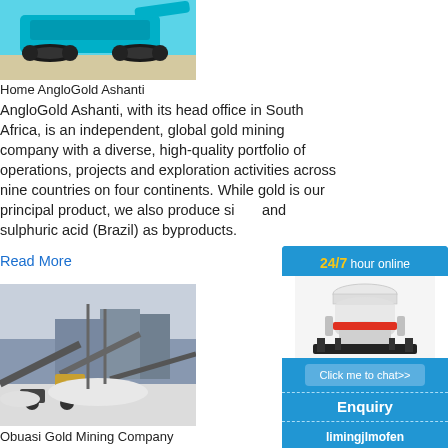[Figure (photo): Photo of a blue tracked mining/crushing machine on sandy ground]
Home AngloGold Ashanti
AngloGold Ashanti, with its head office in South Africa, is an independent, global gold mining company with a diverse, high-quality portfolio of operations, projects and exploration activities across nine countries on four continents. While gold is our principal product, we also produce si... and sulphuric acid (Brazil) as byproducts.
Read More
[Figure (photo): Aerial photo of an industrial mining facility with conveyor belts and machinery in a snowy/winter setting]
Obuasi Gold Mining Company
2008-3-5   Obuasi Gold Mining Company is... mining company with operating mines situa...
[Figure (illustration): Sidebar advertisement: blue background, '24/7 hour online' text in yellow and white, cone crusher machine image, 'Click me to chat>>' button, 'Enquiry' text, 'limingjlmofen' text]